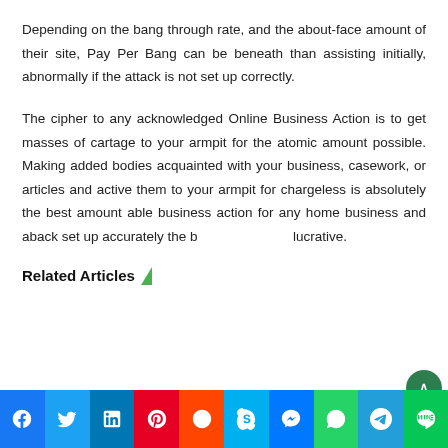Depending on the bang through rate, and the about-face amount of their site, Pay Per Bang can be beneath than assisting initially, abnormally if the attack is not set up correctly.
The cipher to any acknowledged Online Business Action is to get masses of cartage to your armpit for the atomic amount possible. Making added bodies acquainted with your business, casework, or articles and active them to your armpit for chargeless is absolutely the best amount able business action for any home business and aback set up accurately the b... lucrative.
Related Articles
[Figure (other): Social media share bar with icons: Facebook, Twitter, LinkedIn, Pinterest, Reddit, Skype, Messenger, WhatsApp, Telegram, Line]